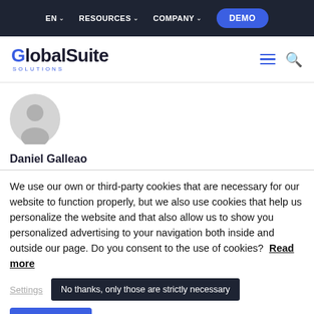EN   RESOURCES   COMPANY   DEMO
[Figure (logo): GlobalSuite Solutions logo with hamburger menu and search icon]
[Figure (illustration): Generic grey user avatar circle icon]
Daniel Galleao
We use our own or third-party cookies that are necessary for our website to function properly, but we also use cookies that help us personalize the website and that also allow us to show you personalized advertising to your navigation both inside and outside our page. Do you consent to the use of cookies?  Read more
Settings   No thanks, only those are strictly necessary
Accept All